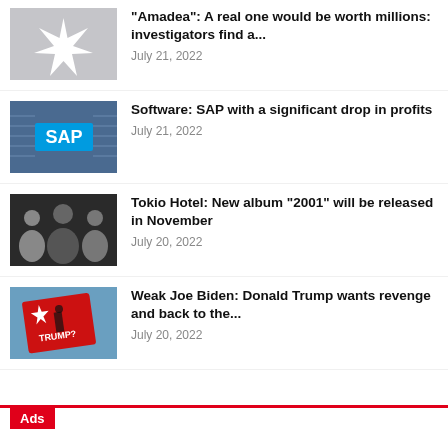"Amadea": A real one would be worth millions: investigators find a... — July 21, 2022
Software: SAP with a significant drop in profits — July 21, 2022
Tokio Hotel: New album "2001" will be released in November — July 20, 2022
Weak Joe Biden: Donald Trump wants revenge and back to the... — July 20, 2022
Ads